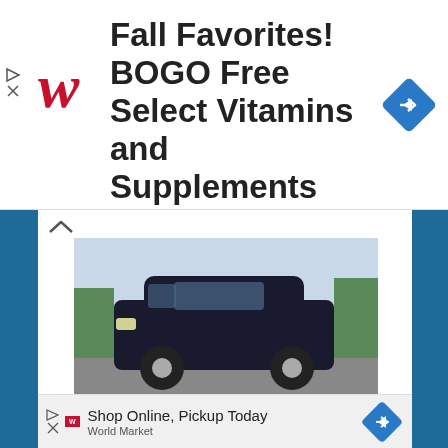[Figure (screenshot): Walgreens advertisement banner: Fall Favorites! BOGO Free Select Vitamins and Supplements, with Walgreens cursive W logo on left and blue diamond navigation icon on right]
[Figure (photo): Photo of a black 2011 Acura TSX Sport Wagon on a road]
2011 Acura TSX Sport Wagon in a Class (Almost) By Itself
[Figure (screenshot): Litter-Robot advertisement banner: colorful background with woman and cat, text says Meet Litter-Robot with LEARN MORE button]
As an Amazon Associate, we earn from qualifying purchases. Thanks for your support!
[Figure (screenshot): Bottom advertisement strip: Shop Online, Pickup Today - World Market, with blue diamond icon]